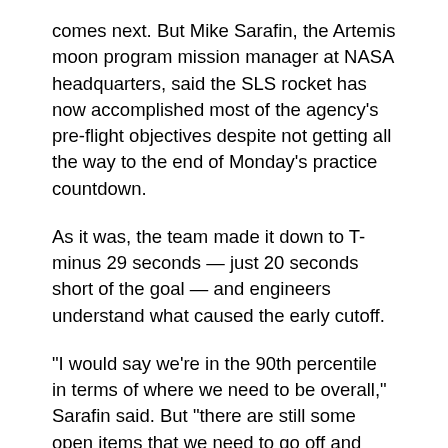comes next. But Mike Sarafin, the Artemis moon program mission manager at NASA headquarters, said the SLS rocket has now accomplished most of the agency's pre-flight objectives despite not getting all the way to the end of Monday's practice countdown.
As it was, the team made it down to T-minus 29 seconds — just 20 seconds short of the goal — and engineers understand what caused the early cutoff.
“I would say we’re in the 90th percentile in terms of where we need to be overall,” Sarafin said. But “there are still some open items that we need to go off and look at… to say that we’re ready from a flight rationale standpoint.”